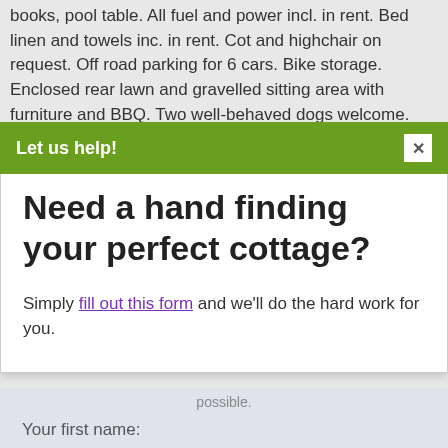books, pool table. All fuel and power incl. in rent. Bed linen and towels inc. in rent. Cot and highchair on request. Off road parking for 6 cars. Bike storage. Enclosed rear lawn and gravelled sitting area with furniture and BBQ. Two well-behaved dogs welcome. Sorry, no smoking. Village shop 1 mile, pub 3 miles. Lake Vyrnwy 4 miles. Note: There is a
Let us help!
Need a hand finding your perfect cottage?
Simply fill out this form and we'll do the hard work for you.
possible.
Your first name:
First name